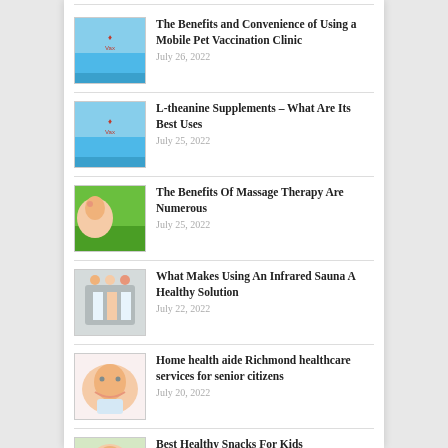The Benefits and Convenience of Using a Mobile Pet Vaccination Clinic | July 26, 2022
L-theanine Supplements – What Are Its Best Uses | July 25, 2022
The Benefits Of Massage Therapy Are Numerous | July 25, 2022
What Makes Using An Infrared Sauna A Healthy Solution | July 22, 2022
Home health aide Richmond healthcare services for senior citizens | July 20, 2022
Best Healthy Snacks For Kids